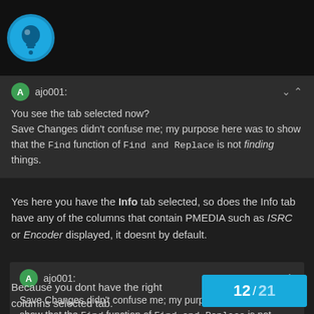[Figure (logo): Circular blue/teal logo icon with a lightbulb/head design on dark background header bar]
ajo001:
You see the tab selected now?
Save Changes didn't confuse me; my purpose here was to show that the Find function of Find and Replace is not finding things.
Yes here you have the Info tab selected, so does the Info tab have any of the columns that contain PMEDIA such as ISRC or Encoder displayed, it doesnt by default.
ajo001:
Save Changes didn't confuse me; my purpose here was to show that the Find function of Find and Replace is not finding things.
Because you dont have the right columns selected tab.
Back
12 / 21